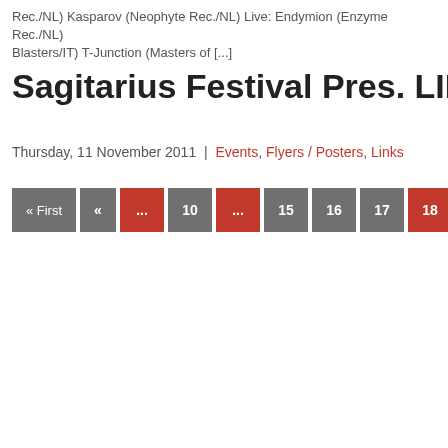Rec./NL) Kasparov (Neophyte Rec./NL) Live: Endymion (Enzyme Rec./NL) Blasters/IT) T-Junction (Masters of [...]
Sagitarius Festival Pres. LIBERTY WH
Thursday, 11 November 2011 | Events, Flyers / Posters, Links
« First « ... 10 ... 15 16 17 18 19 20 21